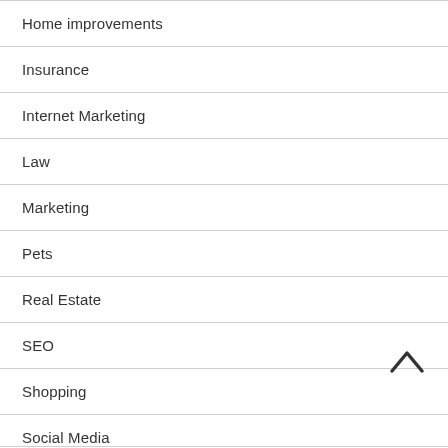Home improvements
Insurance
Internet Marketing
Law
Marketing
Pets
Real Estate
SEO
Shopping
Social Media